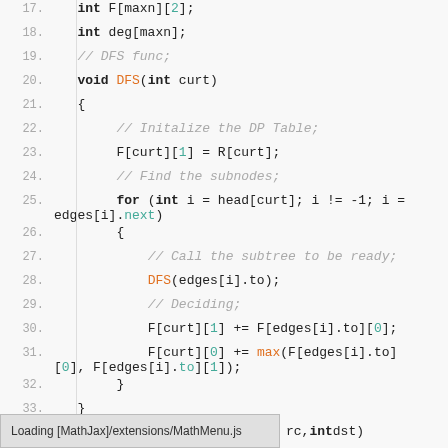[Figure (screenshot): Code editor screenshot showing C++ DFS function implementation with line numbers 17-34, syntax highlighting in monospace font on light gray background. Lines include array declarations, a DFS function, DP table initialization, for loop with linked list traversal, recursive DFS calls, and DP update statements.]
Loading [MathJax]/extensions/MathMenu.js    rc, int dst)